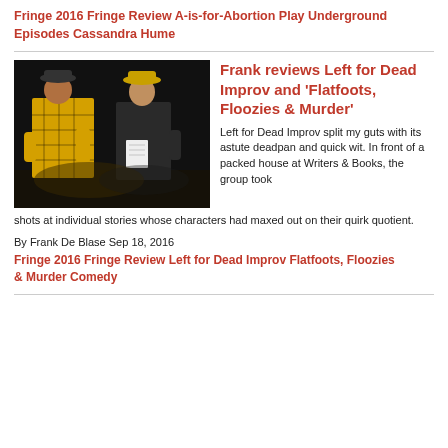Fringe 2016 Fringe Review A-is-for-Abortion Play Underground Episodes Cassandra Hume
[Figure (photo): Two performers on stage: one in a bright yellow plaid suit and dark hat, another in a dark suit and yellow fedora, appearing to look at a notebook in a dark stage setting.]
Frank reviews Left for Dead Improv and 'Flatfoots, Floozies & Murder'
Left for Dead Improv split my guts with its astute deadpan and quick wit. In front of a packed house at Writers & Books, the group took shots at individual stories whose characters had maxed out on their quirk quotient.
By Frank De Blase Sep 18, 2016
Fringe 2016 Fringe Review Left for Dead Improv Flatfoots, Floozies & Murder Comedy